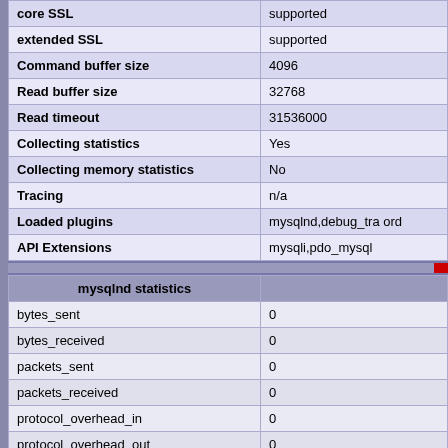|  |  |
| --- | --- |
| core SSL | supported |
| extended SSL | supported |
| Command buffer size | 4096 |
| Read buffer size | 32768 |
| Read timeout | 31536000 |
| Collecting statistics | Yes |
| Collecting memory statistics | No |
| Tracing | n/a |
| Loaded plugins | mysqlnd,debug_tra ord |
| API Extensions | mysqli,pdo_mysql |
| mysqlnd statistics |  |
| --- | --- |
| bytes_sent | 0 |
| bytes_received | 0 |
| packets_sent | 0 |
| packets_received | 0 |
| protocol_overhead_in | 0 |
| protocol_overhead_out | 0 |
| bytes_received_ok_packet | 0 |
| bytes_received_eof_packet | 0 |
| bytes_received_rset_header_packet | 0 |